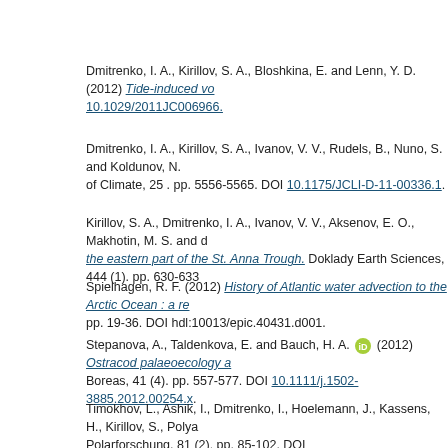Dmitrenko, I. A., Kirillov, S. A., Bloshkina, E. and Lenn, Y. D. (2012) Tide-induced vo... 10.1029/2011JC006966.
Dmitrenko, I. A., Kirillov, S. A., Ivanov, V. V., Rudels, B., Nuno, S. and Koldunov, N... of Climate, 25 . pp. 5556-5565. DOI 10.1175/JCLI-D-11-00336.1.
Kirillov, S. A., Dmitrenko, I. A., Ivanov, V. V., Aksenov, E. O., Makhotin, M. S. and d... the eastern part of the St. Anna Trough. Doklady Earth Sciences, 444 (1). pp. 630-633...
Spielhagen, R. F. (2012) History of Atlantic water advection to the Arctic Ocean : a re... pp. 19-36. DOI hdl:10013/epic.40431.d001.
Stepanova, A., Taldenkova, E. and Bauch, H. A. [ORCID] (2012) Ostracod palaeoecology a... Boreas, 41 (4). pp. 557-577. DOI 10.1111/j.1502-3885.2012.00254.x.
Timokhov, L., Ashik, I., Dmitrenko, I., Hoelemann, J., Kassens, H., Kirillov, S., Polya... Polarforschung, 81 (2). pp. 85-102. DOI hdl:10013/epic.40200.d001.
Adams, S., Willmes, S., Heinemann, G., Rozman, P., Timmermann, R. and Schröder, D... polynya classification methods. Polar Research, 30 (7124). DOI 10.3402/polar.v30i0.7...
Bauch, D. [ORCID], Gröger, M., Dmitrenko, I., Hölemann, J., Kirillov, S., Mackensen, A., T...